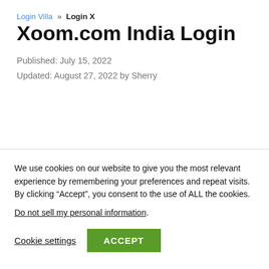Login Villa » Login X
Xoom.com India Login
Published: July 15, 2022
Updated: August 27, 2022 by Sherry
We use cookies on our website to give you the most relevant experience by remembering your preferences and repeat visits. By clicking “Accept”, you consent to the use of ALL the cookies.
Do not sell my personal information.
Cookie settings   ACCEPT